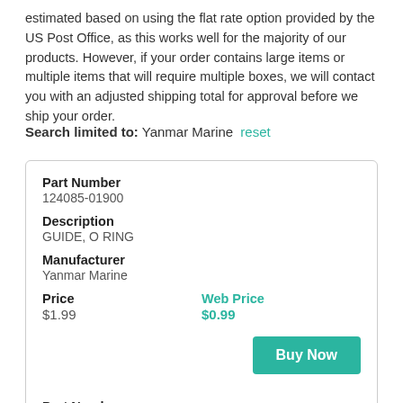estimated based on using the flat rate option provided by the US Post Office, as this works well for the majority of our products. However, if your order contains large items or multiple items that will require multiple boxes, we will contact you with an adjusted shipping total for approval before we ship your order.
Search limited to: Yanmar Marine reset
| Field | Value |
| --- | --- |
| Part Number | 124085-01900 |
| Description | GUIDE, O RING |
| Manufacturer | Yanmar Marine |
| Price | $1.99 |
| Web Price | $0.99 |
| Field | Value |
| --- | --- |
| Part Number | 24341-000350 |